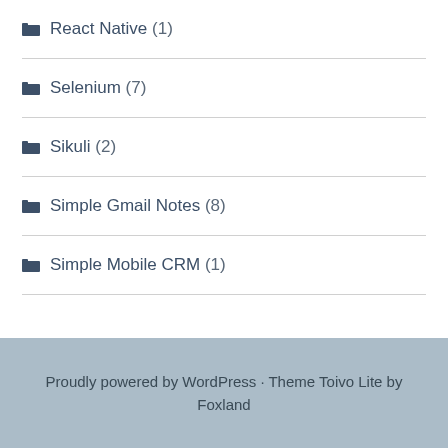React Native (1)
Selenium (7)
Sikuli (2)
Simple Gmail Notes (8)
Simple Mobile CRM (1)
Proudly powered by WordPress · Theme Toivo Lite by Foxland